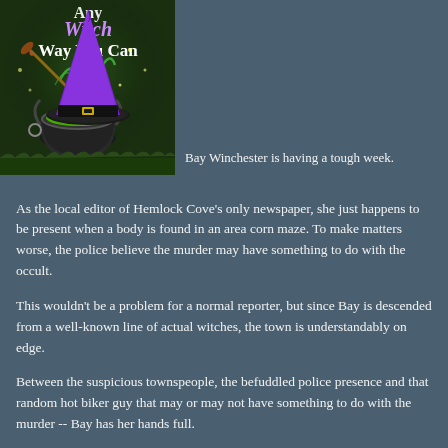[Figure (illustration): Book cover for a cozy mystery novel showing a purple witch hat, a black cauldron with green liquid, a broom, and text reading 'Any Witch Way You Can' on a dark green background.]
Bay Winchester is having a tough week.
As the local editor of Hemlock Cove's only newspaper, she just happens to be present when a body is found in an area corn maze. To make matters worse, the police believe the murder may have something to do with the occult.
This wouldn't be a problem for a normal reporter, but since Bay is descended from a well-known line of actual witches, the town is understandably on edge.
Between the suspicious townspeople, the befuddled police presence and that random hot biker guy that may or may not have something to do with the murder -- Bay has her hands full.